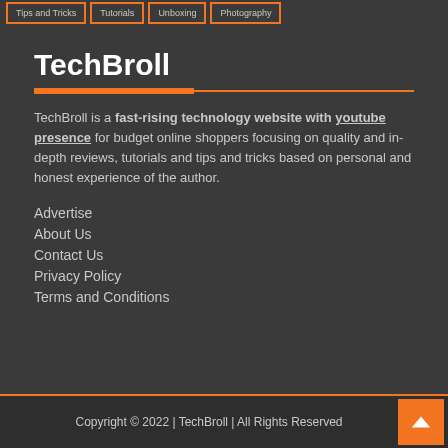Tips and Tricks | Tutorials | Unboxing | Photography
TechBroll
TechBroll is a fast-rising technology website with youtube presence for budget online shoppers focusing on quality and in-depth reviews, tutorials and tips and tricks based on personal and honest experience of the author.
Advertise
About Us
Contact Us
Privacy Policy
Terms and Conditions
Copyright © 2022 | TechBroll | All Rights Reserved